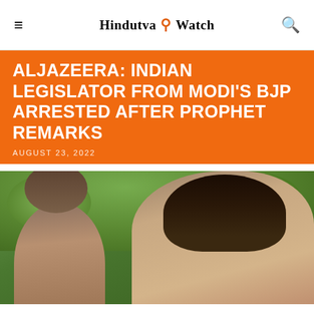Hindutva Watch
ALJAZEERA: INDIAN LEGISLATOR FROM MODI'S BJP ARRESTED AFTER PROPHET REMARKS
AUGUST 23, 2022
[Figure (photo): Two men outdoors with green trees in background; a younger man in foreground on right and an older man on the left]